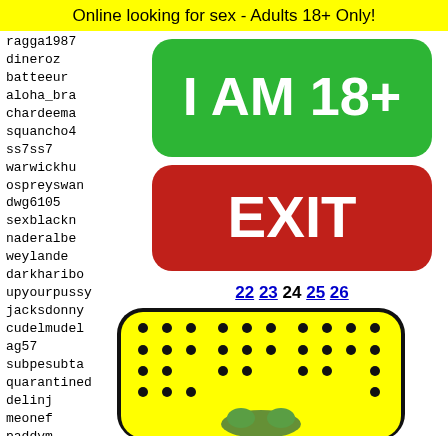Online looking for sex - Adults 18+ Only!
ragga1987
dineroz
batteeur
aloha_bra
chardeema
squancho4
ss7ss7
warwickhu
ospreyswa
dwg6105
sexblackn
naderalbe
weylande
darkharibd
upyourpussy
jacksdonny
cudelmudel
ag57
subpesubta
quarantined
delinj
meonef
paddym
zjecks
camilo
cactuc
[Figure (other): Green rounded rectangle button with white bold text 'I AM 18+']
[Figure (other): Red rounded rectangle button with white bold text 'EXIT']
22 23 24 25 26
[Figure (illustration): Yellow rounded rectangle with black dots pattern and partial frog/character face at bottom, black border]